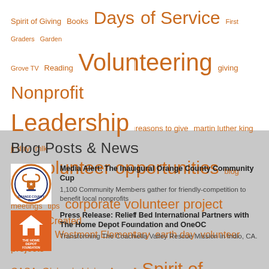[Figure (infographic): Word cloud with orange text on white background containing terms related to volunteering, nonprofits, and community service. Larger words include 'Days of Service', 'Nonprofit', 'Leadership', 'volunteer opportunities', 'Spirit of Volunteerism', 'volunteers', 'Volunteering'. Smaller words include 'Spirit of Giving', 'Books', 'First Graders', 'Garden Grove TV', 'Reading', 'giving', 'reasons to give', 'martin luther king jr day', 'mlk', 'mlk jr.', 'blog', 'effective meetings', 'tips', 'corporate volunteer project', 'Teacher Created Materials', 'Westmont Elementary', 'earth day', 'volunteer projects', 'CASA', 'Giving is Living Award', '2012'.]
Blog Posts & News
[Figure (photo): Orange County Community Cup logo - circular badge with trophy icon, orange and navy blue colors]
Media Alert: The Inaugural Orange County Community Cup
1,100 Community Members gather for friendly-competition to benefit local nonprofits
[Figure (logo): The Home Depot Foundation logo - orange square with white text and house icon]
Press Release: Relief Bed International Partners with The Home Depot Foundation and OneOC
Transforming The Coachella Valley Rescue Mission in Indio, CA.